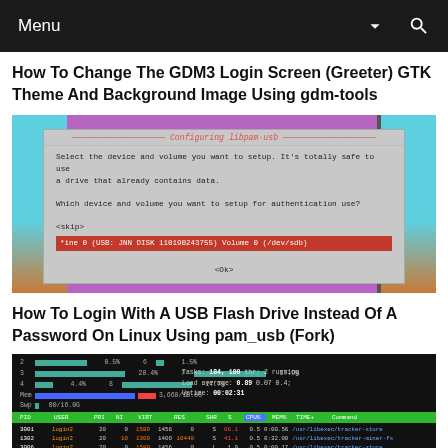Menu
How To Change The GDM3 Login Screen (Greeter) GTK Theme And Background Image Using gdm-tools
[Figure (screenshot): Terminal dialog titled 'Configuring libpam-usb' showing device and volume selection options with a highlighted USB flash drive entry]
How To Login With A USB Flash Drive Instead Of A Password On Linux Using pam_usb (Fork)
[Figure (screenshot): Linux terminal showing system resource usage (top/htop-like output) with process list showing login2 processes and tracker-miner entries]